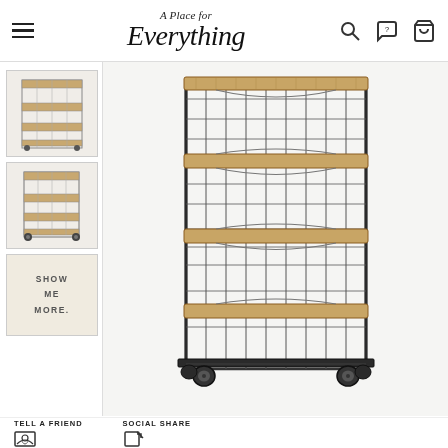A Place for Everything — navigation header with logo, hamburger menu, and icons
[Figure (photo): Small thumbnail of industrial metal wire shelving unit with wooden shelves on casters, angled view]
[Figure (photo): Small thumbnail of industrial metal wire shelving unit with wooden shelves on casters, side view]
SHOW ME MORE.
[Figure (photo): Main large product photo of an industrial metal wire shelving unit with 4 wooden shelves on black metal casters/wheels, dark metal frame with wire grid sides]
TELL A FRIEND
SOCIAL SHARE
Our cookies
We use cookies, which are small text files, to improve your experience on our website. You can allow all or manage them individually.